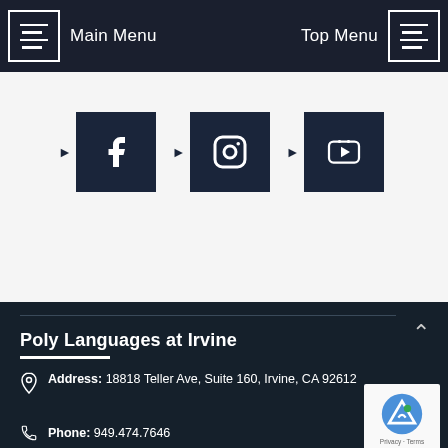Main Menu | Top Menu
[Figure (screenshot): Social media icon buttons: Facebook, Instagram, YouTube on light grey background with arrow pointers]
Poly Languages at Irvine
Address: 18818 Teller Ave, Suite 160, Irvine, CA 92612
Phone: 949.474.7646